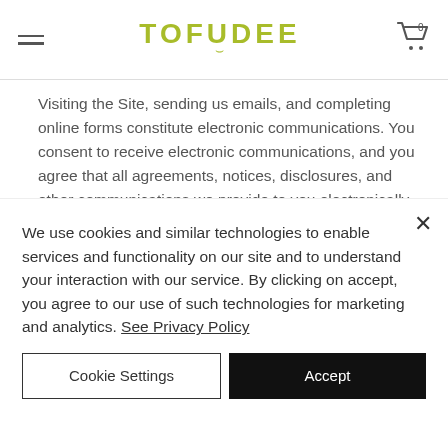TOFUDEE
Visiting the Site, sending us emails, and completing online forms constitute electronic communications. You consent to receive electronic communications, and you agree that all agreements, notices, disclosures, and other communications we provide to you electronically, via email and on the Site, satisfy any legal requirement that such communication be in writing. YOU HEREBY AGREE TO THE USE OF ELECTRONIC
We use cookies and similar technologies to enable services and functionality on our site and to understand your interaction with our service. By clicking on accept, you agree to our use of such technologies for marketing and analytics. See Privacy Policy